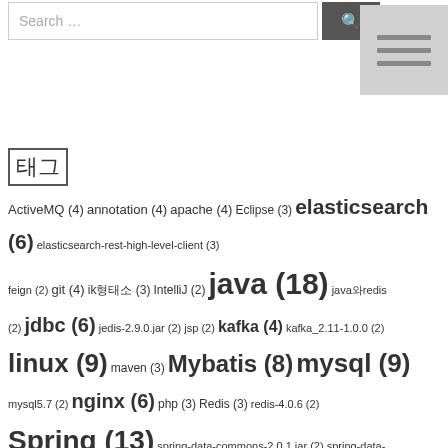[Figure (screenshot): Search bar with text input field showing placeholder 'Search ...' and a dark search button with magnifying glass icon]
[Figure (screenshot): Menu/hamburger icon with three horizontal lines on a light gray background, positioned in upper right]
태그
ActiveMQ (4) annotation (4) apache (4) Eclipse (3) elasticsearch (6) elasticsearch-rest-high-level-client (3) feign (2) git (4) ik형태소 (3) IntelliJ (2) java (18) java와redis (2) jdbc (6) jedis-2.9.0.jar (2) jsp (2) kafka (4) kafka_2.11-1.0.0 (2) linux (9) maven (3) Mybatis (8) mysql (9) mysql5.7 (2) nginx (6) php (3) Redis (3) redis-4.0.6 (2) Spring (13) spring-data-commons-2.0.1.jar (2) spring-data-redis-1.8.3.jar (2) spring-kafka (2) spring4.3.13 (3) springboot (16) springcloud (2) Springmvc (3) spring과redis (2) tomcat (3) zookeeper (2) 게시판만들기 (2) 개발공부 (2) 웹 (3) 자바스크립트 (4) 스프링부트 (3) 알고리즘 (3) 자바 (2) 정렬알고리즘 (2)